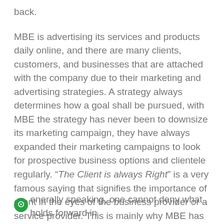back.
MBE is advertising its services and products daily online, and there are many clients, customers, and businesses that are attached with the company due to their marketing and advertising strategies. A strategy always determines how a goal shall be pursued, with MBE the strategy has never been to downsize its marketing campaign, they have always expanded their marketing campaigns to look for prospective business options and clientele regularly. “The Client is always Right” is a very famous saying that signifies the importance of client in the eyes of the business provider or a service provider. This is mainly why MBE has given huge boost to its clientele, satisfied their needs and moved ahead at a rapid pace through positive advertising. Understanding the competitor’s strategy and analyzing their marketing targets is also important for a company like MBE.
Generally speaking, one cannot deny what holds forward in